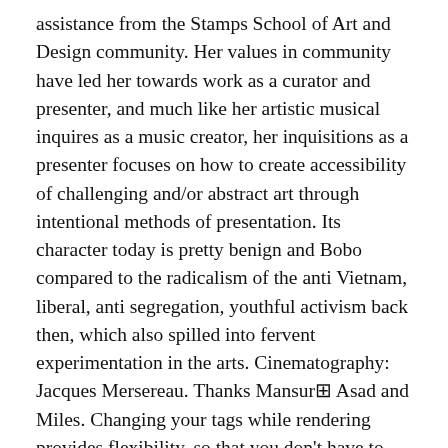assistance from the Stamps School of Art and Design community. Her values in community have led her towards work as a curator and presenter, and much like her artistic musical inquires as a music creator, her inquisitions as a presenter focuses on how to create accessibility of challenging and/or abstract art through intentional methods of presentation. Its character today is pretty benign and Bobo compared to the radicalism of the anti Vietnam, liberal, anti segregation, youthful activism back then, which also spilled into fervent experimentation in the arts. Cinematography: Jacques Mersereau. Thanks Mansur⊞ Asad and Miles. Changing your tags while rendering provides flexibility, so that you don't have to switch the Timeline Color Space to embed different tags. I have a similar query I have set up the Vimeo Listener tag with the Window Loaded trigger, but the interactions are not appearing in preview mode. After all, it was created by a group of filmmakers. Vimeo Auto Event Listener sends all interactions as Data Layer events under the name of “video”. If you are using WordPress as your website host, you can easily add your Vimeo tracking code with the use of the Footers and Headers plugin. Original file 3,264 x 1,952